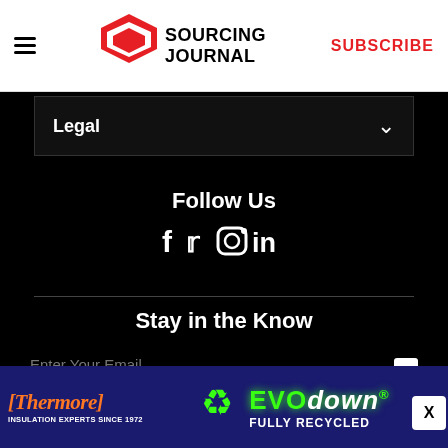Sourcing Journal — SUBSCRIBE
Legal
Follow Us
[Figure (infographic): Social media icons: Facebook, Twitter, Instagram, LinkedIn]
Stay in the Know
Enter Your Email  SUBSCRIBE
[Figure (infographic): Thermore Insulation Experts Since 1972 — EVO down FULLY RECYCLED advertisement banner]